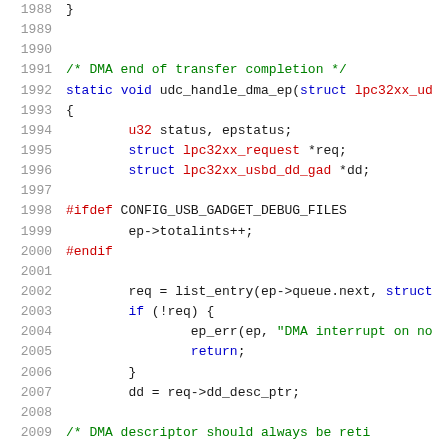[Figure (screenshot): Source code listing showing C code for udc_handle_dma_ep function, lines 1988-2009, with syntax highlighting: line numbers in gray, keywords in blue, types/preprocessor in red, comments and strings in green, other code in black.]